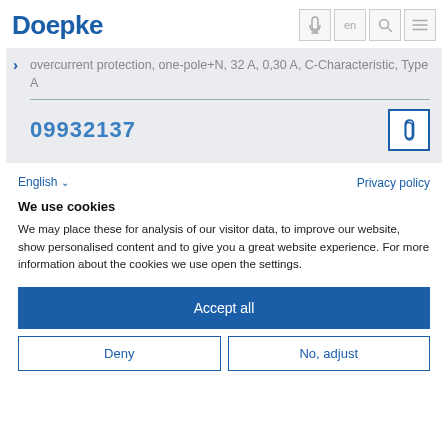Doepke
overcurrent protection, one-pole+N, 32 A, 0,30 A, C-Characteristic, Type A
09932137
English
Privacy policy
We use cookies
We may place these for analysis of our visitor data, to improve our website, show personalised content and to give you a great website experience. For more information about the cookies we use open the settings.
Accept all
Deny
No, adjust